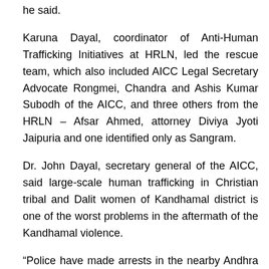he said.
Karuna Dayal, coordinator of Anti-Human Trafficking Initiatives at HRLN, led the rescue team, which also included AICC Legal Secretary Advocate Rongmei, Chandra and Ashis Kumar Subodh of the AICC, and three others from the HRLN – Afsar Ahmed, attorney Diviya Jyoti Jaipuria and one identified only as Sangram.
Dr. John Dayal, secretary general of the AICC, said large-scale human trafficking in Christian tribal and Dalit women of Kandhamal district is one of the worst problems in the aftermath of the Kandhamal violence.
“Police have made arrests in the nearby Andhra Pradesh and other states,” he said. “Because of the displacement due to the violence, they lost their future, and it is very easy for strangers to come and lure them. Community and